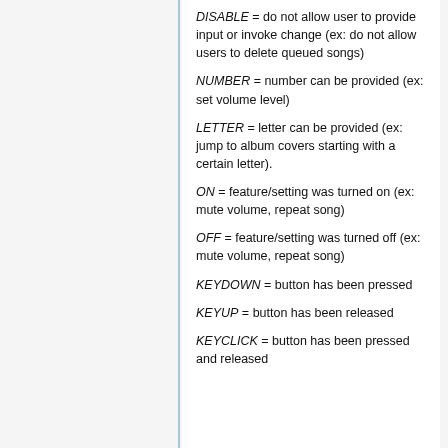DISABLE = do not allow user to provide input or invoke change (ex: do not allow users to delete queued songs)
NUMBER = number can be provided (ex: set volume level)
LETTER = letter can be provided (ex: jump to album covers starting with a certain letter).
ON = feature/setting was turned on (ex: mute volume, repeat song)
OFF = feature/setting was turned off (ex: mute volume, repeat song)
KEYDOWN = button has been pressed
KEYUP = button has been released
KEYCLICK = button has been pressed and released